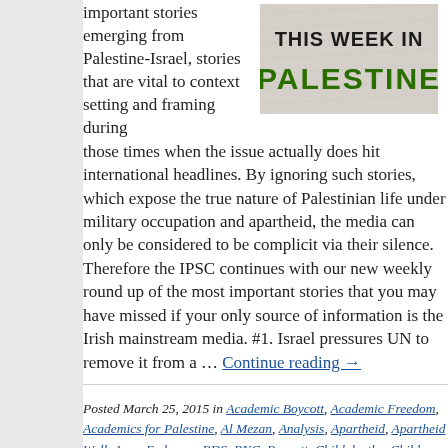[Figure (logo): This Week in Palestine logo with bold green text]
important stories emerging from Palestine-Israel, stories that are vital to context setting and framing during those times when the issue actually does hit international headlines. By ignoring such stories, which expose the true nature of Palestinian life under military occupation and apartheid, the media can only be considered to be complicit via their silence. Therefore the IPSC continues with our new weekly round up of the most important stories that you may have missed if your only source of information is the Irish mainstream media. #1. Israel pressures UN to remove it from a … Continue reading →
Posted March 25, 2015 in Academic Boycott, Academic Freedom, Academics for Palestine, Al Mezan, Analysis, Apartheid, Apartheid Wall, Arms Embargo, BDS, BNC, Boycott, Child deaths, Child